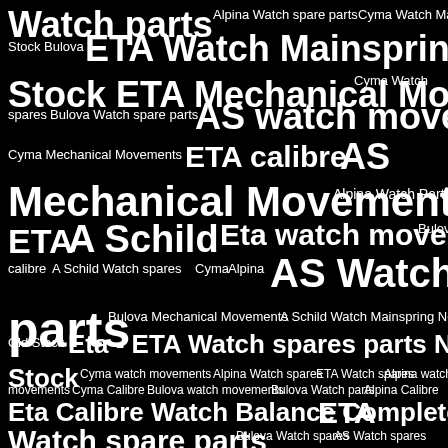[Figure (infographic): Word cloud on black background featuring watch-related keywords in varying font sizes. Largest terms include 'Watch parts', 'ETA Watch Mainspring New Old Stock', 'ETA Mechanical Movements', 'AS watch movements', 'ETA calibre AS', 'Mechanical Movements', 'ETA A Schild', 'Eta watch movements', 'AS Watch spare parts', 'Eta Calibre Watch Balance Complete', 'ETA Watch spare parts'. Smaller terms include brand names and descriptors: Alpina, Cyma, Bulova, A Schild, calibre, spares, movements, Mainspring, New Old Stock, etc.]